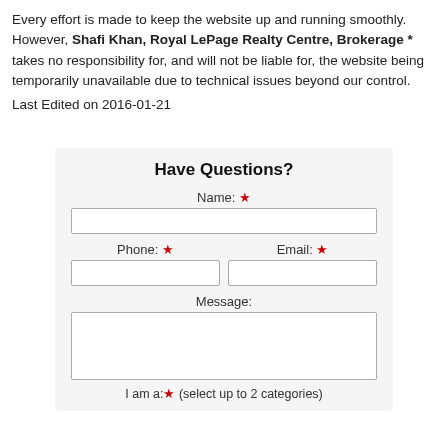Every effort is made to keep the website up and running smoothly. However, Shafi Khan, Royal LePage Realty Centre, Brokerage * takes no responsibility for, and will not be liable for, the website being temporarily unavailable due to technical issues beyond our control.
Last Edited on 2016-01-21
Have Questions?
Name: *
Phone: * Email: *
Message:
I am a: * (select up to 2 categories)